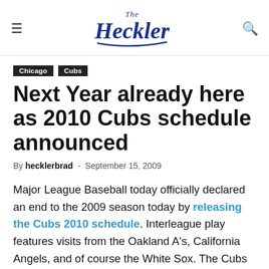The Heckler
Chicago  Cubs
Next Year already here as 2010 Cubs schedule announced
By hecklerbrad - September 15, 2009
Major League Baseball today officially declared an end to the 2009 season today by releasing the Cubs 2010 schedule. Interleague play features visits from the Oakland A's, California Angels, and of course the White Sox. The Cubs will